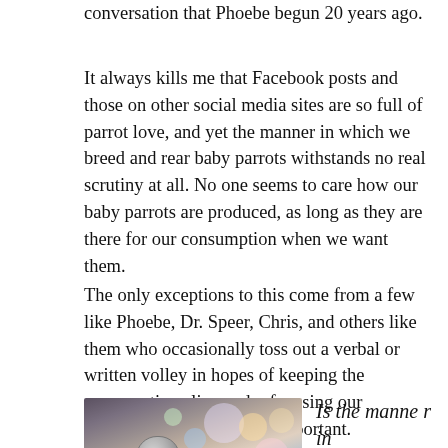conversation that Phoebe begun 20 years ago.
It always kills me that Facebook posts and those on other social media sites are so full of parrot love, and yet the manner in which we breed and rear baby parrots withstands no real scrutiny at all. No one seems to care how our baby parrots are produced, as long as they are there for our consumption when we want them.
The only exceptions to this come from a few like Phoebe, Dr. Speer, Chris, and others like them who occasionally toss out a verbal or written volley in hopes of keeping the conversation alive and refocusing our attention on what is most important.
[Figure (photo): A close-up photo of a microphone against a blurred bokeh background of colorful lights]
Is the manner in